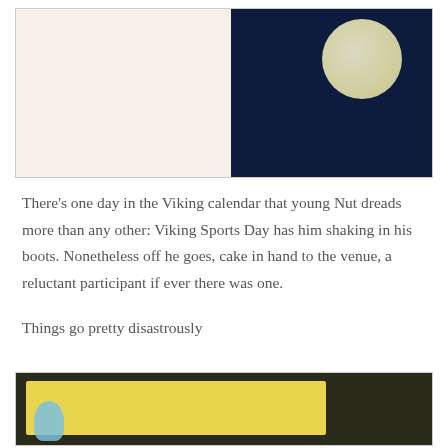[Figure (photo): Two children's book pages/spread photographed. Left page shows illustrated characters on white background, right page shows a night scene with a large moon and dark blue background.]
There’s one day in the Viking calendar that young Nut dreads more than any other: Viking Sports Day has him shaking in his boots. Nonetheless off he goes, cake in hand to the venue, a reluctant participant if ever there was one.
Things go pretty disastrously
[Figure (photo): Bottom portion of a children's book page showing a yellow background with illustrated characters visible.]